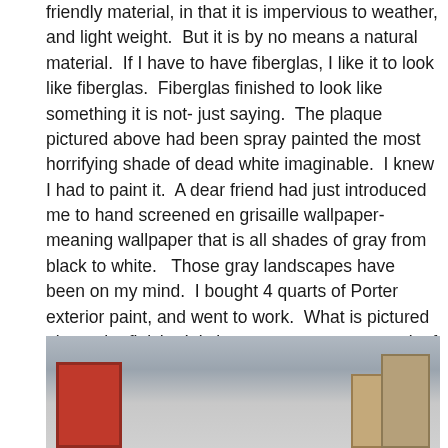friendly material, in that it is impervious to weather, and light weight.  But it is by no means a natural material.  If I have to have fiberglas, I like it to look like fiberglas.  Fiberglas finished to look like something it is not- just saying.  The plaque pictured above had been spray painted the most horrifying shade of dead white imaginable.  I knew I had to paint it.  A dear friend had just introduced me to hand screened en grisaille wallpaper-meaning wallpaper that is all shades of gray from black to white.   Those gray landscapes have been on my mind.  I bought 4 quarts of Porter exterior paint, and went to work.  What is pictured above-the finish.  It is by no means a great work of decorative art, but this painted surface is much easier on the eye than what was.
[Figure (photo): Photograph showing a room interior with what appears to be a red-framed object on the left and book-like objects on the right, against a light gray/white wall background.]